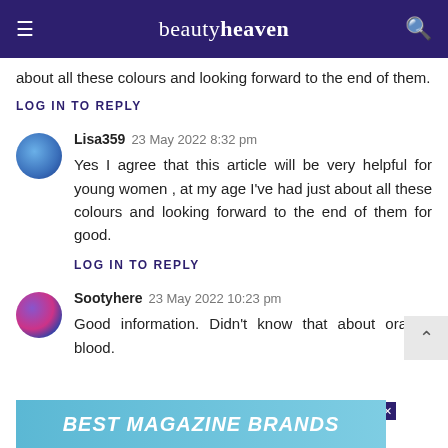beautyheaven
about all these colours and looking forward to the end of them.
LOG IN TO REPLY
Lisa359   23 May 2022 8:32 pm
Yes I agree that this article will be very helpful for young women , at my age I’ve had just about all these colours and looking forward to the end of them for good.
LOG IN TO REPLY
Sootyhere   23 May 2022 10:23 pm
Good information. Didn’t know that about orange blood.
[Figure (other): Advertisement banner reading BEST MAGAZINE BRANDS]